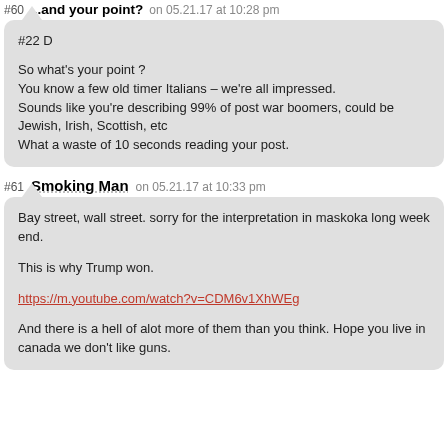#60 ...and your point? on 05.21.17 at 10:28 pm
#22 D

So what's your point ?
You know a few old timer Italians – we're all impressed.
Sounds like you're describing 99% of post war boomers, could be Jewish, Irish, Scottish, etc
What a waste of 10 seconds reading your post.
#61 Smoking Man on 05.21.17 at 10:33 pm
Bay street, wall street. sorry for the interpretation in maskoka long week end.

This is why Trump won.

https://m.youtube.com/watch?v=CDM6v1XhWEg

And there is a hell of alot more of them than you think. Hope you live in canada we don't like guns.